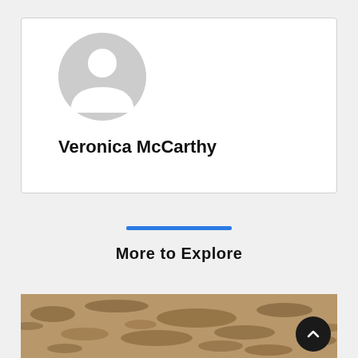[Figure (illustration): User profile card with a generic grey avatar/silhouette icon and the name Veronica McCarthy below it, inside a white rounded rectangle card]
Veronica McCarthy
[Figure (illustration): Horizontal blue divider line]
More to Explore
[Figure (photo): Close-up photograph of sandy/gravelly ground texture, brown and dark tones, partially visible at bottom of page. A dark circular back-to-top button with an upward chevron arrow is overlaid in the bottom-right corner.]